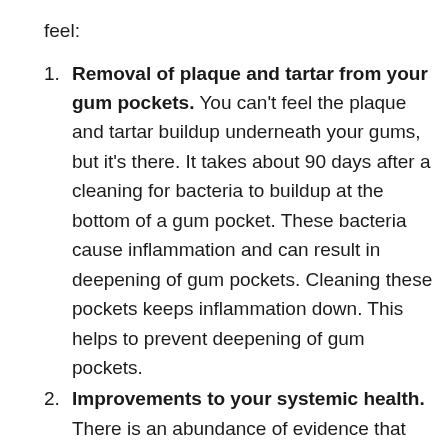feel:
Removal of plaque and tartar from your gum pockets. You can't feel the plaque and tartar buildup underneath your gums, but it's there. It takes about 90 days after a cleaning for bacteria to buildup at the bottom of a gum pocket. These bacteria cause inflammation and can result in deepening of gum pockets. Cleaning these pockets keeps inflammation down. This helps to prevent deepening of gum pockets.
Improvements to your systemic health. There is an abundance of evidence that bacteria can enter your